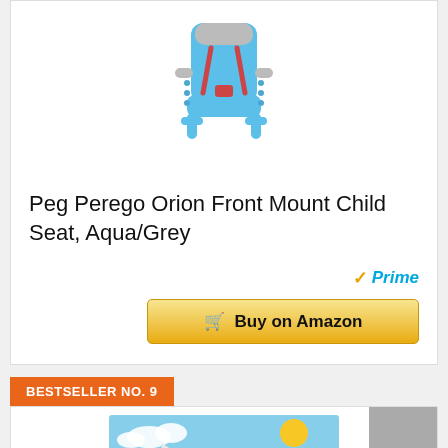[Figure (photo): Blue and grey child bicycle seat (Peg Perego Orion Front Mount Child Seat, Aqua/Grey) shown from front angle]
Peg Perego Orion Front Mount Child Seat, Aqua/Grey
[Figure (logo): Amazon Prime badge with checkmark and 'Prime' text in blue italic]
Buy on Amazon
BESTSELLER NO. 9
[Figure (illustration): Cartoon airplane flying in blue sky with clouds and sun — product image for second listing]